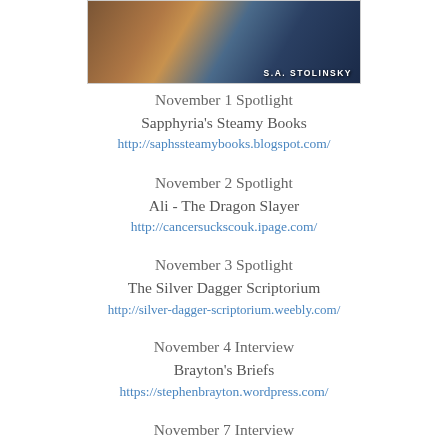[Figure (photo): Book cover image showing 'S.A. STOLINSKY' author name, partially visible]
November 1 Spotlight
Sapphyria's Steamy Books
http://saphssteamybooks.blogspot.com/
November 2 Spotlight
Ali - The Dragon Slayer
http://cancersuckscouk.ipage.com/
November 3 Spotlight
The Silver Dagger Scriptorium
http://silver-dagger-scriptorium.weebly.com/
November 4 Interview
Brayton's Briefs
https://stephenbrayton.wordpress.com/
November 7 Interview
The Book Junkie Reads